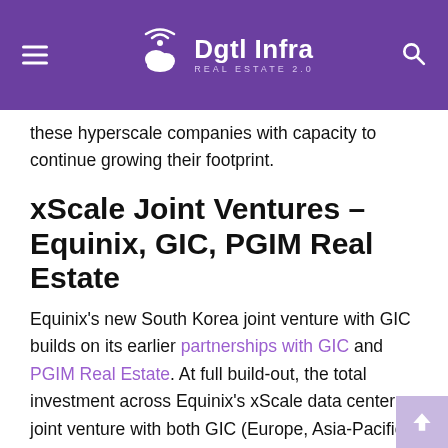Dgtl Infra REAL ESTATE 2.0
these hyperscale companies with capacity to continue growing their footprint.
xScale Joint Ventures – Equinix, GIC, PGIM Real Estate
Equinix's new South Korea joint venture with GIC builds on its earlier partnerships with GIC and PGIM Real Estate. At full build-out, the total investment across Equinix's xScale data center joint venture with both GIC (Europe, Asia-Pacific, and the Americas) and PGIM Real Estate (Australia) will be over $8bn, across 36 facilities, with 720+ megawatts of power capacity.
xScale Operational Portfolio